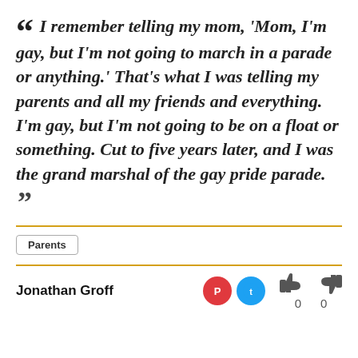“ I remember telling my mom, 'Mom, I'm gay, but I'm not going to march in a parade or anything.' That's what I was telling my parents and all my friends and everything. I'm gay, but I'm not going to be on a float or something. Cut to five years later, and I was the grand marshal of the gay pride parade. ”
Parents
Jonathan Groff